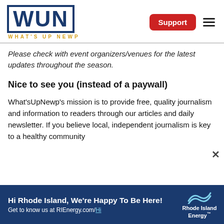WUN WHAT'S UP NEWP — Support
Please check with event organizers/venues for the latest updates throughout the season.
Nice to see you (instead of a paywall)
What'sUpNewp's mission is to provide free, quality journalism and information to readers through our articles and daily newsletter. If you believe local, independent journalism is key to a healthy community
[Figure (infographic): Rhode Island Energy advertisement banner: 'Hi Rhode Island, We're Happy To Be Here! Get to know us at RIEnergy.com/Hi' with Rhode Island Energy logo]